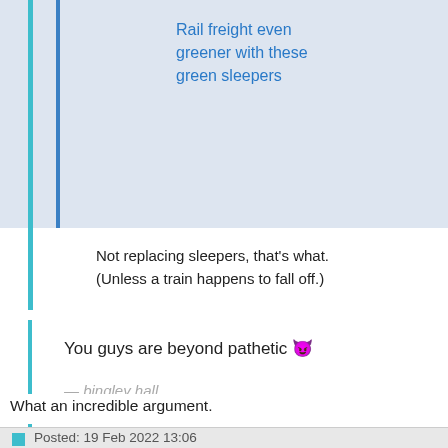Rail freight even greener with these green sleepers
Not replacing sleepers, that's what. (Unless a train happens to fall off.)
You guys are beyond pathetic 😈
— bingley hall
What an incredible argument.
Posted: 19 Feb 2022 13:06